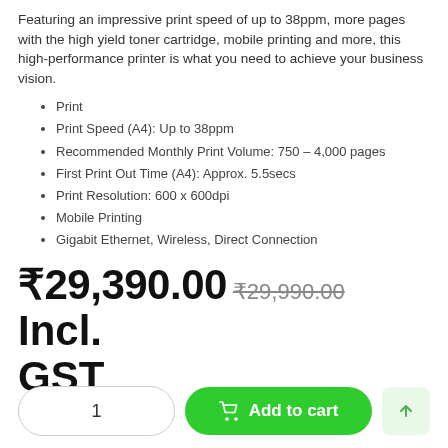Featuring an impressive print speed of up to 38ppm, more pages with the high yield toner cartridge, mobile printing and more, this high-performance printer is what you need to achieve your business vision.
Print
Print Speed (A4): Up to 38ppm
Recommended Monthly Print Volume: 750 – 4,000 pages
First Print Out Time (A4): Approx. 5.5secs
Print Resolution: 600 x 600dpi
Mobile Printing
Gigabit Ethernet, Wireless, Direct Connection
₹29,390.00  ₹29,990.00  Incl. GST